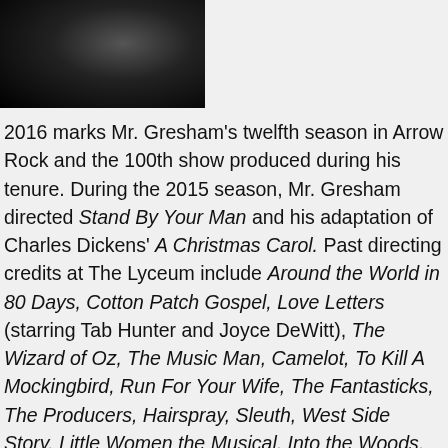[Figure (photo): Black and white portrait photo of Mr. Gresham, cropped to show upper body, dark background]
2016 marks Mr. Gresham's twelfth season in Arrow Rock and the 100th show produced during his tenure. During the 2015 season, Mr. Gresham directed Stand By Your Man and his adaptation of Charles Dickens' A Christmas Carol. Past directing credits at The Lyceum include Around the World in 80 Days, Cotton Patch Gospel, Love Letters (starring Tab Hunter and Joyce DeWitt), The Wizard of Oz, The Music Man, Camelot, To Kill A Mockingbird, Run For Your Wife, The Fantasticks, The Producers, Hairspray, Sleuth, West Side Story, Little Women the Musical, Into the Woods, Misery, 1776, Tuesdays with Morrie, Dracula, Peter Pan, and Driving Miss